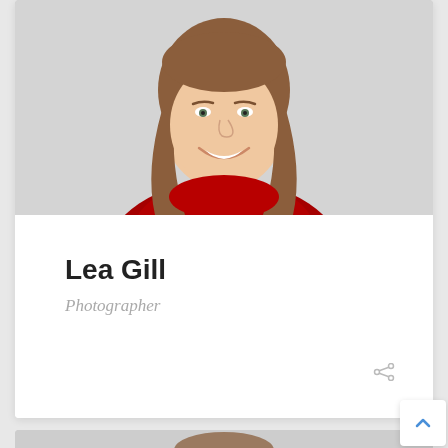[Figure (photo): Portrait photo of a young woman with long brown hair, smiling, wearing a red knit sweater, on a light grey background]
Lea Gill
Photographer
[Figure (photo): Partial portrait of a young man with short dark hair, visible from top of head, on a light grey background]